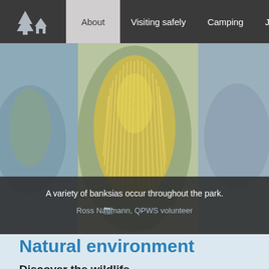About | Visiting safely | Camping | Journey
[Figure (photo): Close-up photo of a banksia flower with yellow spiky petals, blurred blue-grey background, split panel composition]
A variety of banksias occur throughout the park.
📷 Ross Naumann, QPWS volunteer
Natural environment
Discover the wildlife
Numerous terrestrial and marine animal species live here including many species affected by loss of habitat—the